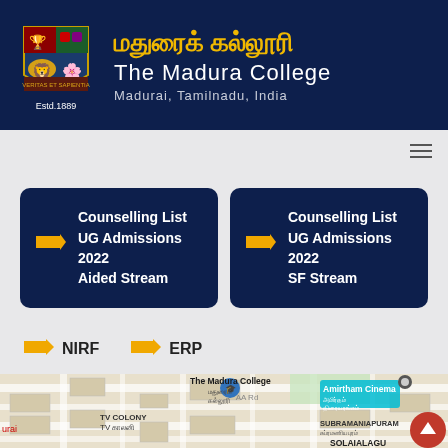[Figure (logo): The Madura College shield logo with lion and Estd.1889 text below]
மதுரைக் கல்லூரி
The Madura College
Madurai, Tamilnadu, India
[Figure (screenshot): Navigation bar with hamburger menu icon]
Counselling List UG Admissions 2022 Aided Stream
Counselling List UG Admissions 2022 SF Stream
NIRF
ERP
[Figure (map): Google Maps screenshot showing The Madura College location, TV Colony, Amirtham Cinema, Subramaniapuram area in Madurai]